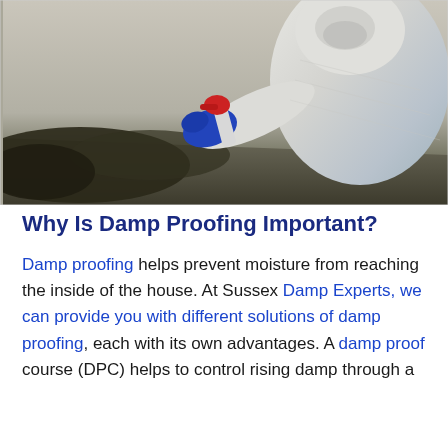[Figure (photo): Person in white protective suit and blue gloves crouching near a wall corner with mold/damp damage at the base, holding a red-capped spray bottle, treating the affected area.]
Why Is Damp Proofing Important?
Damp proofing helps prevent moisture from reaching the inside of the house. At Sussex Damp Experts, we can provide you with different solutions of damp proofing, each with its own advantages. A damp proof course (DPC) helps to control rising damp through a